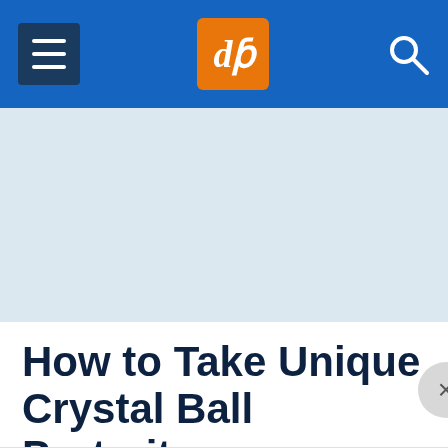dPS navigation header with hamburger menu, dPS logo, and search icon
[Figure (other): Light blue banner/advertisement area placeholder]
How to Take Unique Crystal Ball Portraits
A Post By: Simon Bond